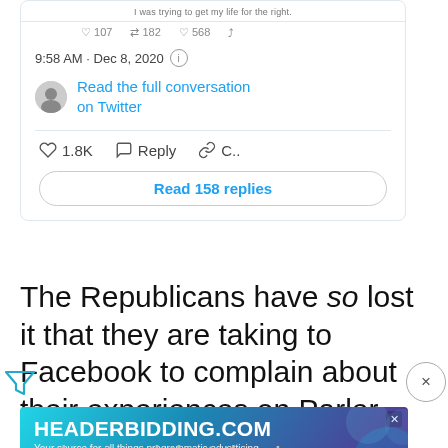[Figure (screenshot): Partial Twitter/X embedded tweet card showing timestamp '9:58 AM · Dec 8, 2020', a 'Read the full conversation on Twitter' link with user avatar, like count '1.8K', Reply, and Copy link buttons, and a 'Read 158 replies' button.]
The Republicans have so lost it that they are taking to Facebook to complain about their experiences on Parler, the social-media site for which they left
understand that they're
[Figure (screenshot): Advertisement banner for HEADERBIDDING.COM with tagline 'Your source for all things programmatic advertising.' on a blue/purple gradient background.]